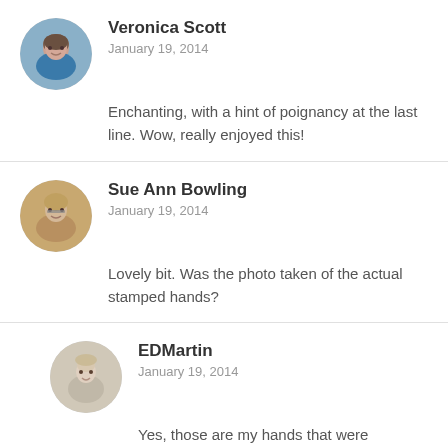[Figure (photo): Circular avatar photo of Veronica Scott, older woman]
Veronica Scott
January 19, 2014
Enchanting, with a hint of poignancy at the last line. Wow, really enjoyed this!
[Figure (photo): Circular avatar photo of Sue Ann Bowling, woman with glasses]
Sue Ann Bowling
January 19, 2014
Lovely bit. Was the photo taken of the actual stamped hands?
[Figure (photo): Circular avatar photo of EDMartin, young child smiling]
EDMartin
January 19, 2014
Yes, those are my hands that were stamped. 2 weeks later, and the ink is still faintly on them. :D
Back to top